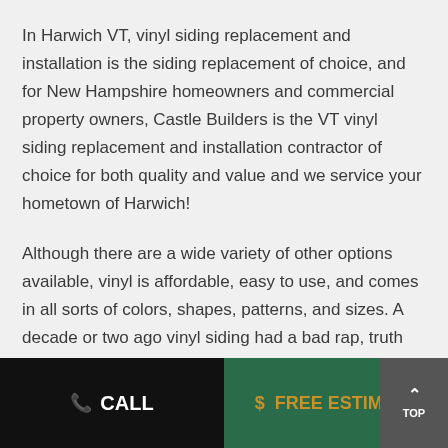In Harwich VT, vinyl siding replacement and installation is the siding replacement of choice, and for New Hampshire homeowners and commercial property owners, Castle Builders is the VT vinyl siding replacement and installation contractor of choice for both quality and value and we service your hometown of Harwich!
Although there are a wide variety of other options available, vinyl is affordable, easy to use, and comes in all sorts of colors, shapes, patterns, and sizes. A decade or two ago vinyl siding had a bad rap, truth be told, the early renditions of vinyl siding left a lot to be desired. Today however vinyl siding has
CALL   $ FREE ESTIMATE   TOP